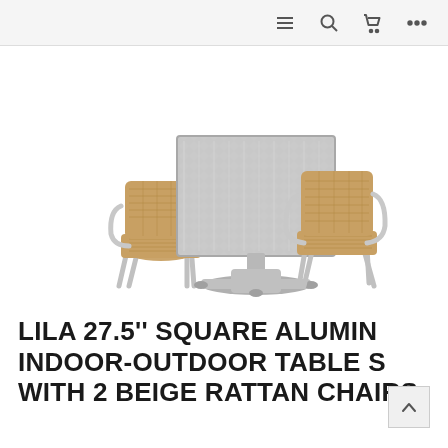Navigation bar with menu, search, cart, and more icons
[Figure (photo): A square aluminum table with a metal pedestal base and two beige/tan rattan-weave chairs with aluminum frames, arranged as an indoor-outdoor dining set on a white background.]
LILA 27.5'' SQUARE ALUMINUM INDOOR-OUTDOOR TABLE SET WITH 2 BEIGE RATTAN CHAIRS